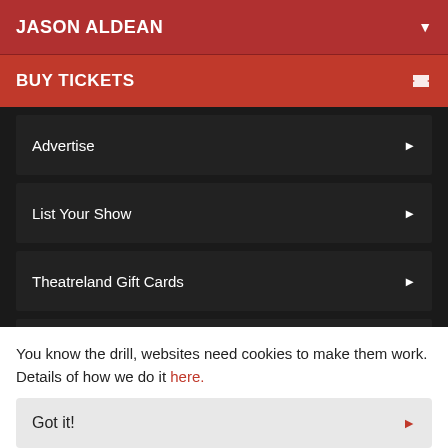JASON ALDEAN
BUY TICKETS
Advertise
List Your Show
Theatreland Gift Cards
Buyer Guarantee
Covid updates
[Figure (logo): THEATRELAND LTD logo in bold white text on dark background]
You know the drill, websites need cookies to make them work. Details of how we do it here.
Got it!